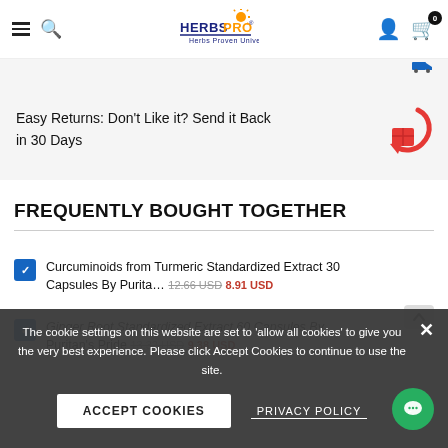HerbsPro - Herbs Proven Universally
Easy Returns: Don't Like it? Send it Back in 30 Days
FREQUENTLY BOUGHT TOGETHER
Curcuminoids from Turmeric Standardized Extract 30 Capsules By Purita... 12.66 USD 8.91 USD
Ginger Root Standardized Extract 60 Capsules By Puritan's Pride 13.32 USD 9.38 USD
The cookie settings on this website are set to 'allow all cookies' to give you the very best experience. Please click Accept Cookies to continue to use the site.